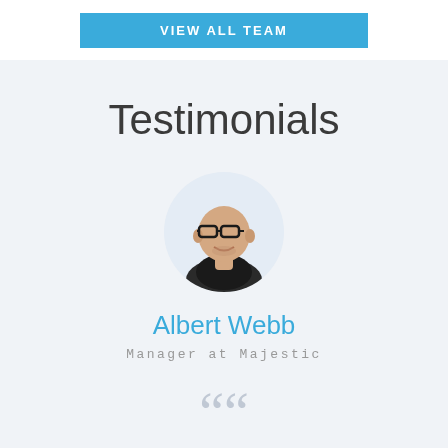[Figure (other): Blue button with text VIEW ALL TEAM]
Testimonials
[Figure (photo): Circular portrait photo of a bald man with glasses wearing a suit, smiling]
Albert Webb
Manager at Majestic
““